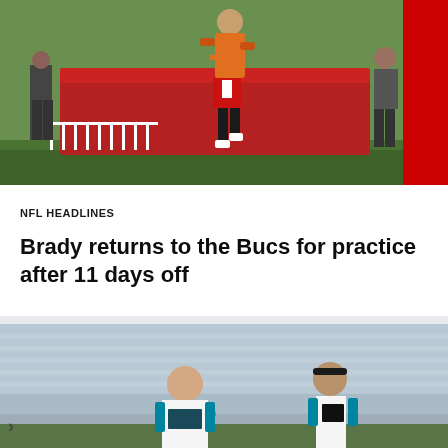[Figure (photo): Football player in orange jersey running at Tampa Bay Buccaneers practice facility with #GOBUC banner visible on the right side]
NFL HEADLINES
Brady returns to the Bucs for practice after 11 days off
[Figure (photo): Two Carolina Panthers players in white and teal uniforms standing on field, one with headband]